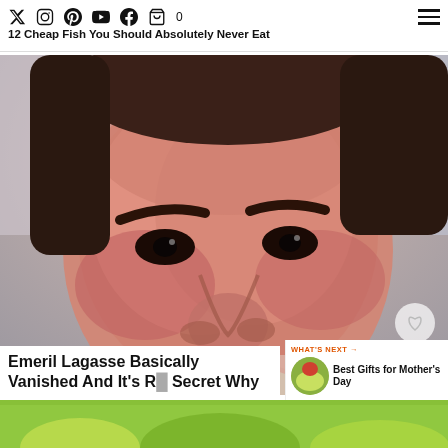12 Cheap Fish You Should Absolutely Never Eat
[Figure (photo): Close-up photo of Emeril Lagasse's face at what appears to be a public event, with a blurred background.]
Emeril Lagasse Basically Vanished And It's Really No Secret Why
WHAT'S NEXT → Best Gifts for Mother's Day